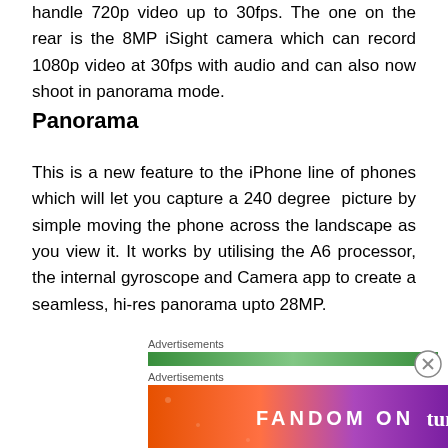handle 720p video up to 30fps. The one on the rear is the 8MP iSight camera which can record 1080p video at 30fps with audio and can also now shoot in panorama mode.
Panorama
This is a new feature to the iPhone line of phones which will let you capture a 240 degree picture by simple moving the phone across the landscape as you view it. It works by utilising the A6 processor, the internal gyroscope and Camera app to create a seamless, hi-res panorama upto 28MP.
[Figure (other): Advertisements label with green gradient bar and a colorful Fandom on Tumblr banner advertisement with orange-to-purple gradient background and white bold text reading FANDOM ON tumblr]